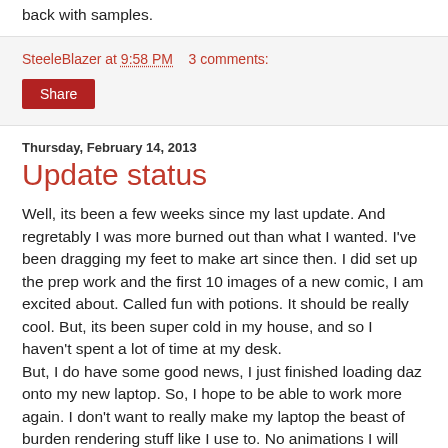back with samples.
SteeleBlazer at 9:58 PM   3 comments:
Share
Thursday, February 14, 2013
Update status
Well, its been a few weeks since my last update. And regretably I was more burned out than what I wanted. I've been dragging my feet to make art since then. I did set up the prep work and the first 10 images of a new comic, I am excited about. Called fun with potions. It should be really cool. But, its been super cold in my house, and so I haven't spent a lot of time at my desk.
But, I do have some good news, I just finished loading daz onto my new laptop. So, I hope to be able to work more again. I don't want to really make my laptop the beast of burden rendering stuff like I use to. No animations I will